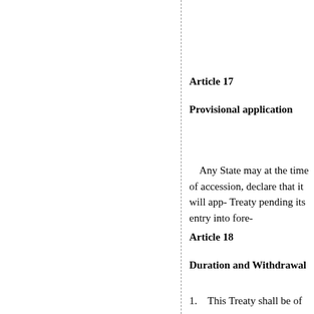Article 17
Provisional application
Any State may at the time of accession, declare that it will app- Treaty pending its entry into fore-
Article 18
Duration and Withdrawal
1.   This Treaty shall be of un-